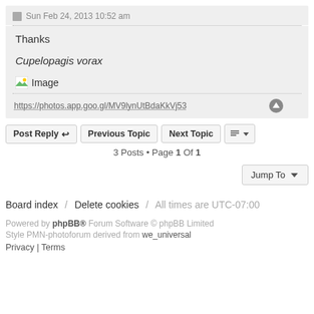Sun Feb 24, 2013 10:52 am
Thanks
Cupelopagis vorax
[Figure (illustration): Broken image placeholder icon with label 'Image']
https://photos.app.goo.gl/MV9lynUtBdaKkVj53
Post Reply  Previous Topic  Next Topic
3 Posts • Page 1 Of 1
Jump To
Board index / Delete cookies / All times are UTC-07:00
Powered by phpBB® Forum Software © phpBB Limited
Style PMN-photoforum derived from we_universal
Privacy | Terms